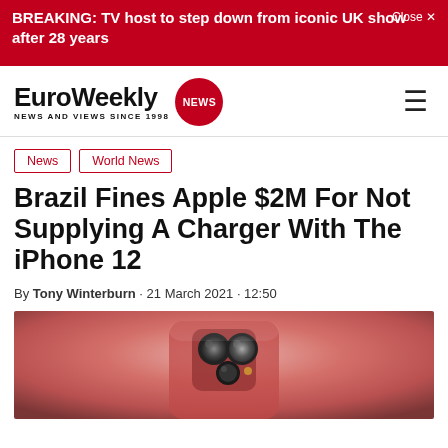BREAKING: TV host to step down from iconic UK show after 28 years  Close ✕
[Figure (logo): EuroWeekly NEWS logo with red circle badge. Text: EuroWeekly NEWS AND VIEWS SINCE 1998]
News
World News
Brazil Fines Apple $2M For Not Supplying A Charger With The iPhone 12
By Tony Winterburn · 21 March 2021 · 12:50
[Figure (photo): Close-up photo of a red/pink iPhone 12 showing the rear camera module]